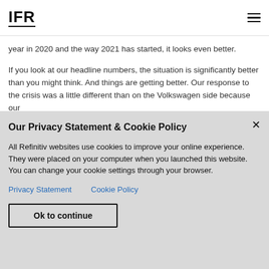IFR
year in 2020 and the way 2021 has started, it looks even better.
If you look at our headline numbers, the situation is significantly better than you might think. And things are getting better. Our response to the crisis was a little different than on the Volkswagen side because our
Our Privacy Statement & Cookie Policy
All Refinitiv websites use cookies to improve your online experience. They were placed on your computer when you launched this website. You can change your cookie settings through your browser.
Privacy Statement   Cookie Policy
Ok to continue